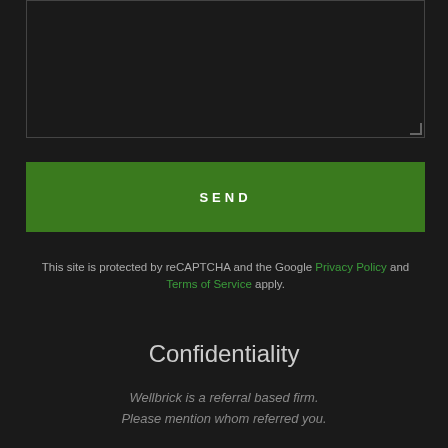[Figure (screenshot): Text input textarea with dark background and resize handle in bottom-right corner]
SEND
This site is protected by reCAPTCHA and the Google Privacy Policy and Terms of Service apply.
Confidentiality
Wellbrick is a referral based firm. Please mention whom referred you.